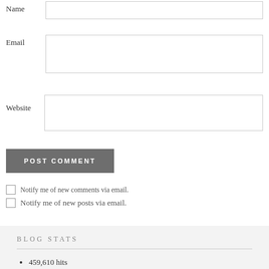Name
Email
Website
POST COMMENT
Notify me of new comments via email.
Notify me of new posts via email.
BLOG STATS
459,610 hits